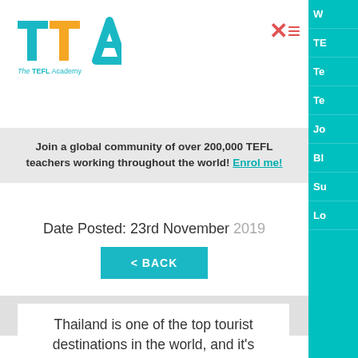[Figure (logo): TTA - The TEFL Academy logo with teal T, orange T, teal A lettering]
Join a global community of over 200,000 TEFL teachers working throughout the world! Enrol me!
Date Posted: 23rd November 2019
< BACK
Thailand is one of the top tourist destinations in the world, and it's popular with TEFL teachers too. Most people were introduced to Thailand through the 2000 movie The Beach